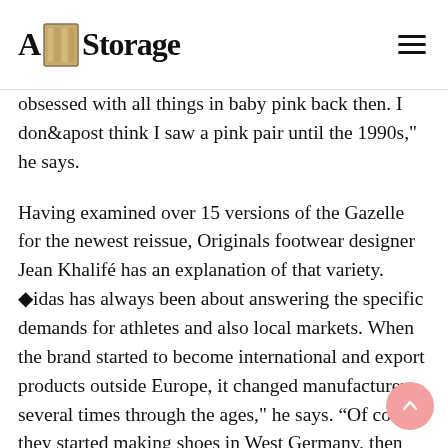A Storage
obsessed with all things in baby pink back then. I don&apost think I saw a pink pair until the 1990s," he says.
Having examined over 15 versions of the Gazelle for the newest reissue, Originals footwear designer Jean Khalifé has an explanation of that variety. �idas has always been about answering the specific demands for athletes and also local markets. When the brand started to become international and export products outside Europe, it changed manufacturers several times through the ages," he says. “Of course, they started making shoes in West Germany, then France, Austria, Brazil, Argentina, and Canada. They